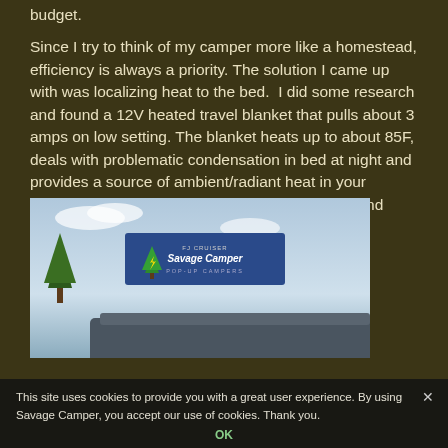budget.
Since I try to think of my camper more like a homestead, efficiency is always a priority. The solution I came up with was localizing heat to the bed.  I did some research and found a 12V heated travel blanket that pulls about 3 amps on low setting. The blanket heats up to about 85F, deals with problematic condensation in bed at night and provides a source of ambient/radiant heat in your camper interior. The best part is it's around $20 and available on Amazon.
[Figure (photo): Photo of a pop-up camper with a Savage Camper / FJ Cruiser pop-up campers sign visible, sky in background. Cookie consent banner overlaid at the bottom.]
This site uses cookies to provide you with a great user experience. By using Savage Camper, you accept our use of cookies. Thank you.